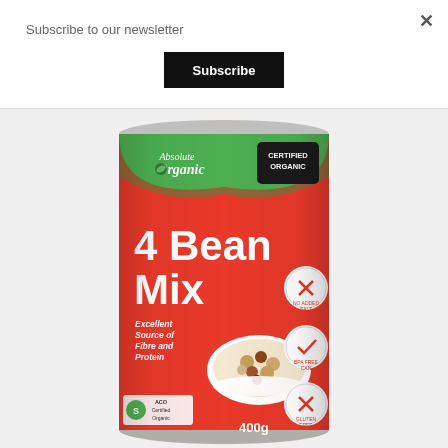Subscribe to our newsletter
Subscribe
×
[Figure (photo): A can of Absolute Organic 4 Bean Mix (400g), with a red and green label. Text on label: 'Absolute Organic', 'CERTIFIED ORGANIC', '4 Bean Mix', 'Excellent Source of Fibre and Protein', '400g', 'ACO Certified Organic'. Badges for no added salt, BPA free can, and gluten free.]